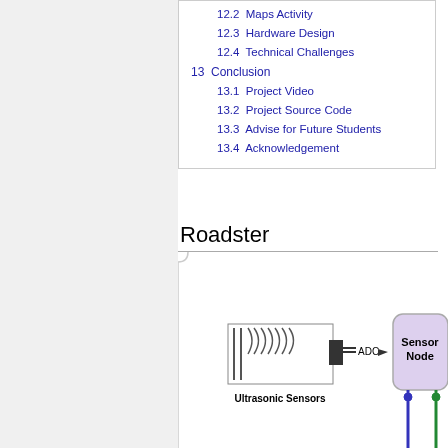12.2  Maps Activity
12.3  Hardware Design
12.4  Technical Challenges
13  Conclusion
13.1  Project Video
13.2  Project Source Code
13.3  Advise for Future Students
13.4  Acknowledgement
Roadster
[Figure (schematic): Partial engineering schematic showing Ultrasonic Sensors connected via ADC to a Sensor Node block (purple rounded rectangle), with connector lines at the bottom.]